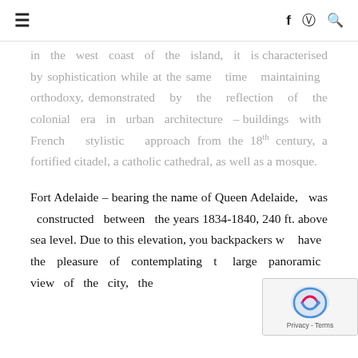≡  f  ⊙  🔍
in the west coast of the island, it is characterised by sophistication while at the same time maintaining orthodoxy, demonstrated by the reflection of the colonial era in urban architecture – buildings with French stylistic approach from the 18th century, a fortified citadel, a catholic cathedral, as well as a mosque.
Fort Adelaide – bearing the name of Queen Adelaide, was constructed between the years 1834-1840, 240 ft. above sea level. Due to this elevation, you backpackers will have the pleasure of contemplating the large panoramic view of the city, the